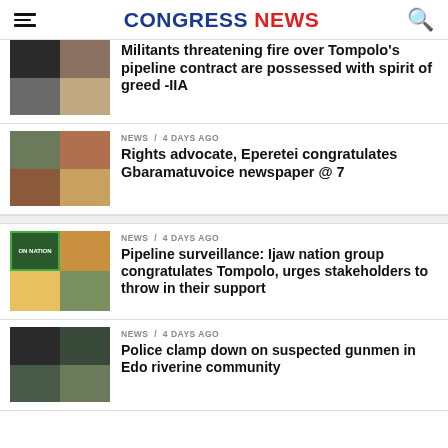CONGRESS NEWS
Militants threatening fire over Tompolo's pipeline contract are possessed with spirit of greed -IIA
NEWS / 4 days ago
Rights advocate, Eperetei congratulates Gbaramatuvoice newspaper @ 7
NEWS / 4 days ago
Pipeline surveillance: Ijaw nation group congratulates Tompolo, urges stakeholders to throw in their support
NEWS / 4 days ago
Police clamp down on suspected gunmen in Edo riverine community